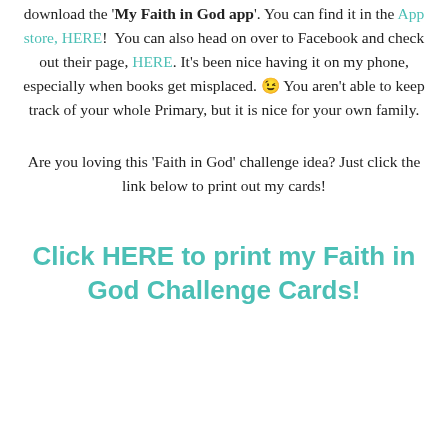download the 'My Faith in God app'. You can find it in the App store, HERE! You can also head on over to Facebook and check out their page, HERE. It's been nice having it on my phone, especially when books get misplaced. 😉 You aren't able to keep track of your whole Primary, but it is nice for your own family.
Are you loving this 'Faith in God' challenge idea? Just click the link below to print out my cards!
Click HERE to print my Faith in God Challenge Cards!